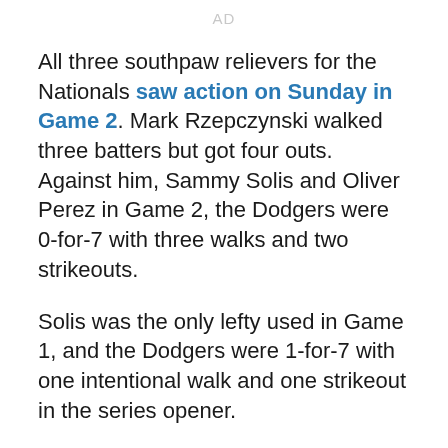AD
All three southpaw relievers for the Nationals saw action on Sunday in Game 2. Mark Rzepczynski walked three batters but got four outs. Against him, Sammy Solis and Oliver Perez in Game 2, the Dodgers were 0-for-7 with three walks and two strikeouts.
Solis was the only lefty used in Game 1, and the Dodgers were 1-for-7 with one intentional walk and one strikeout in the series opener.
That’s 1-for-14 (.071) in the series with three strikeouts, though also with four walks.